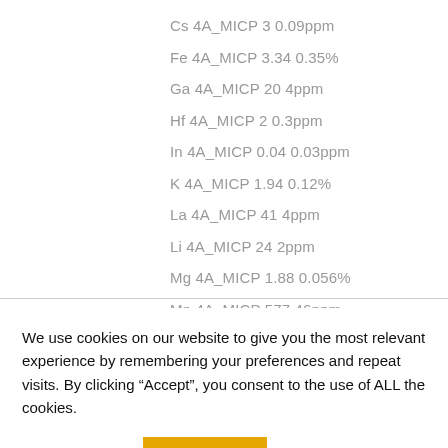Cs 4A_MICP 3 0.09ppm
Fe 4A_MICP 3.34 0.35%
Ga 4A_MICP 20 4ppm
Hf 4A_MICP 2 0.3ppm
In 4A_MICP 0.04 0.03ppm
K 4A_MICP 1.94 0.12%
La 4A_MICP 41 4ppm
Li 4A_MICP 24 2ppm
Mg 4A_MICP 1.88 0.056%
Mn 4A_MICP 577 46ppm
We use cookies on our website to give you the most relevant experience by remembering your preferences and repeat visits. By clicking “Accept”, you consent to the use of ALL the cookies.
Cookie settings | ACCEPT